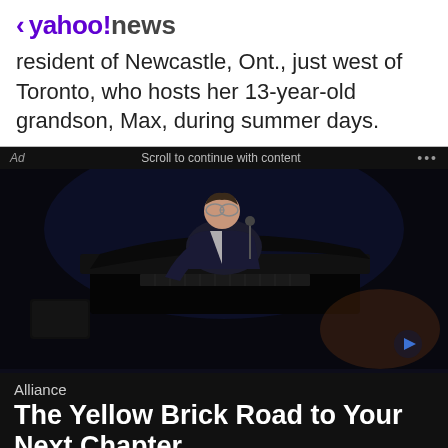< yahoo!news
resident of Newcastle, Ont., just west of Toronto, who hosts her 13-year-old grandson, Max, during summer days.
[Figure (photo): A performer, likely Elton John, playing piano on a dark stage, leaning forward expressively, wearing a dark suit and glasses.]
Alliance
The Yellow Brick Road to Your Next Chapter